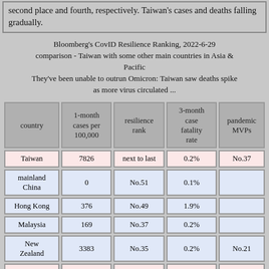second place and fourth, respectively. Taiwan's cases and deaths falling gradually.
Bloomberg's CovID Resilience Ranking, 2022-6-29 comparison - Taiwan with some other main countries in Asia & Pacific
They've been unable to outrun Omicron: Taiwan saw deaths spike as more virus circulated ...
| country | 1-month cases per 100,000 | resilience rank | 3-month case fatality rate | pandemic MVPs |
| --- | --- | --- | --- | --- |
| Taiwan | 7826 | next to last | 0.2% | No.37 |
| mainland China | 0 | No.51 | 0.1% |  |
| Hong Kong | 376 | No.49 | 1.9% |  |
| Malaysia | 169 | No.37 | 0.2% |  |
| New Zealand | 3383 | No.35 | 0.2% | No.21 |
| Bangladesh | 8 | No.34 | 0.1% | No.27 |